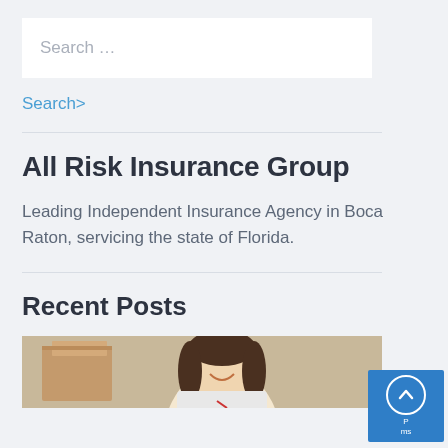Search …
Search>
All Risk Insurance Group
Leading Independent Insurance Agency in Boca Raton, servicing the state of Florida.
Recent Posts
[Figure (photo): Smiling woman, partial view, bottom of page]